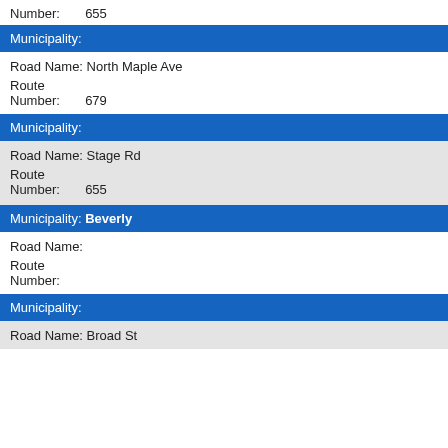Number: 655
Municipality:
Road Name: North Maple Ave
Route
Number: 679
Municipality:
Road Name: Stage Rd
Route
Number: 655
Municipality: Beverly
Road Name:
Route
Number:
Municipality:
Road Name: Broad St